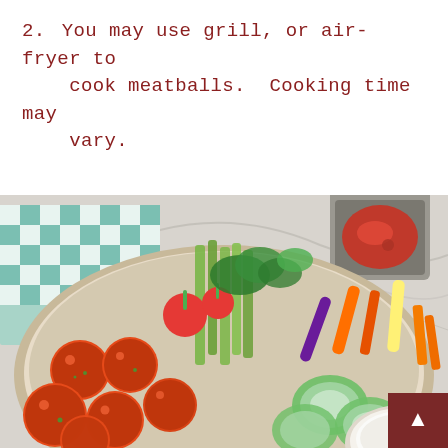2. You may use grill, or air-fryer to cook meatballs. Cooking time may vary.
[Figure (photo): Overhead shot of a large bowl containing buffalo meatballs coated in orange-red sauce with herbs, surrounded by celery sticks, radishes, cucumber slices, carrot sticks, and a small white bowl of ranch/blue cheese dip. A small pot of red sauce sits on a marble surface in the background, next to a blue and white checkered cloth.]